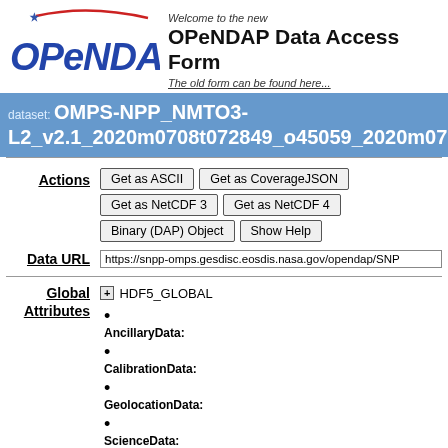[Figure (logo): OPeNDAP logo with blue italic text and red arc swoosh with star]
Welcome to the new
OPeNDAP Data Access Form
The old form can be found here...
dataset: OMPS-NPP_NMTO3-L2_v2.1_2020m0708t072849_o45059_2020m07
Actions
Get as ASCII | Get as CoverageJSON | Get as NetCDF 3 | Get as NetCDF 4 | Binary (DAP) Object | Show Help
Data URL
https://snpp-omps.gesdisc.eosdis.nasa.gov/opendap/SNP
Global Attributes
+ HDF5_GLOBAL
AncillaryData:
CalibrationData:
GeolocationData:
ScienceData: